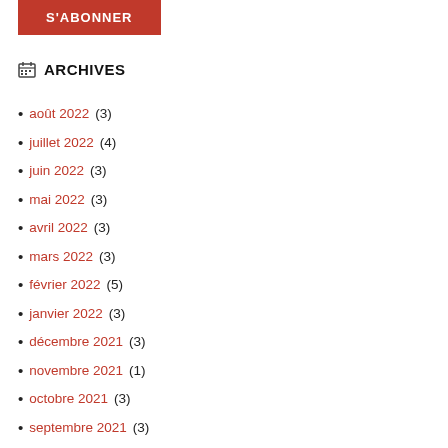S'ABONNER
ARCHIVES
août 2022 (3)
juillet 2022 (4)
juin 2022 (3)
mai 2022 (3)
avril 2022 (3)
mars 2022 (3)
février 2022 (5)
janvier 2022 (3)
décembre 2021 (3)
novembre 2021 (1)
octobre 2021 (3)
septembre 2021 (3)
juillet 2021 (1)
avril 2021 (3)
mars 2021 (2)
février 2021 (2)
janvier 2021 (2)
octobre 2020 (2)